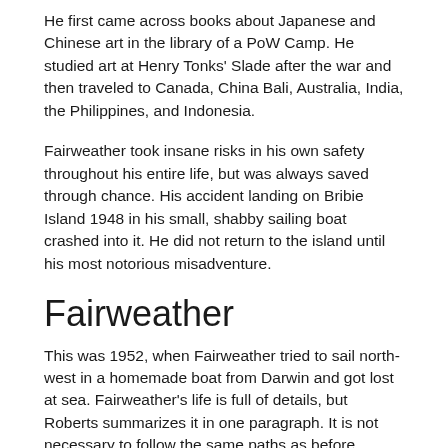He first came across books about Japanese and Chinese art in the library of a PoW Camp. He studied art at Henry Tonks' Slade after the war and then traveled to Canada, China Bali, Australia, India, the Philippines, and Indonesia.
Fairweather took insane risks in his own safety throughout his entire life, but was always saved through chance. His accident landing on Bribie Island 1948 in his small, shabby sailing boat crashed into it. He did not return to the island until his most notorious misadventure.
Fairweather
This was 1952, when Fairweather tried to sail north-west in a homemade boat from Darwin and got lost at sea. Fairweather's life is full of details, but Roberts summarizes it in one paragraph. It is not necessary to follow the same paths as before.
She concluded that Fairweather was an artist who